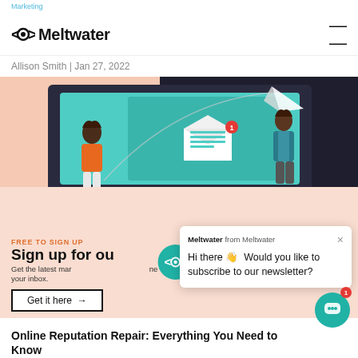Meltwater
Allison Smith | Jan 27, 2022
[Figure (illustration): Hero image showing a laptop screen with an email/newsletter illustration: a paper plane flying, an open envelope with a document, two illustrated people standing on either side, on a dark background with a peach/salmon foreground.]
FREE TO SIGN UP
Sign up for our newsletter
Get the latest marketing news delivered straight to your inbox.
Get it here →
Meltwater from Meltwater
Hi there 👋 Would you like to subscribe to our newsletter?
Online Reputation Repair: Everything You Need to Know